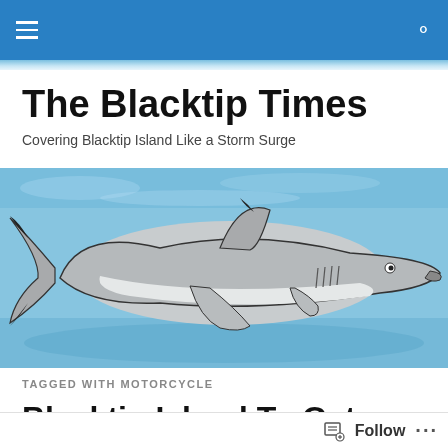Navigation bar with hamburger menu and search icon
The Blacktip Times
Covering Blacktip Island Like a Storm Surge
[Figure (illustration): Illustration of a blacktip shark swimming in blue water, drawn in a sketchy watercolor style against a blue ocean background.]
TAGGED WITH MOTORCYCLE
Blacktip Island To Get Traffic Signals
Follow  ...